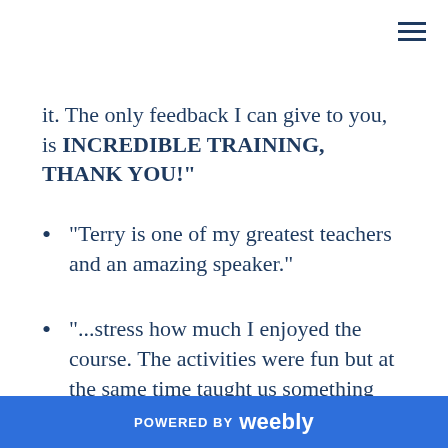it. The only feedback I can give to you, is INCREDIBLE TRAINING, THANK YOU!"
"Terry is one of my greatest teachers and an amazing speaker."
“...stress how much I enjoyed the course. The activities were fun but at the same time taught us something valuable...the subjects covered were clearly explained and easy to understand... you created an atmosphere of
POWERED BY weebly